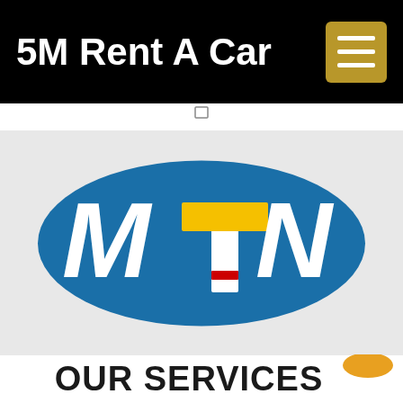5M Rent A Car
[Figure (logo): MTN logo — white italic text 'MTN' on a blue oval, with yellow T and red underline on the T]
OUR SERVICES